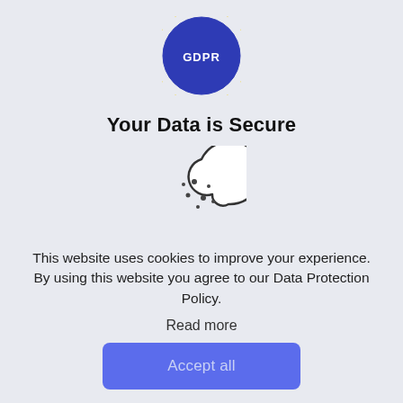[Figure (logo): GDPR badge: dark blue circle with 12 yellow stars arranged in a ring and 'GDPR' text in white in the center]
Your Data is Secure
[Figure (illustration): Cookie icon: outline drawing of a cookie with a bite taken out, with small dots representing chocolate chips]
This website uses cookies to improve your experience. By using this website you agree to our Data Protection Policy.
Read more
Accept all